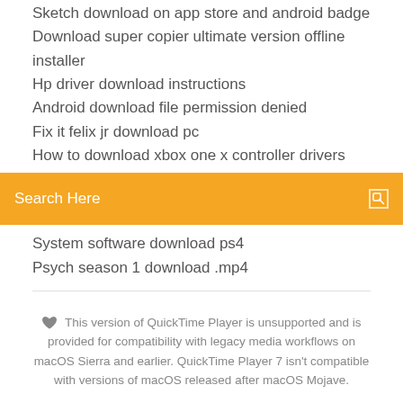Sketch download on app store and android badge
Download super copier ultimate version offline installer
Hp driver download instructions
Android download file permission denied
Fix it felix jr download pc
How to download xbox one x controller drivers
System software download ps4
Psych season 1 download .mp4
This version of QuickTime Player is unsupported and is provided for compatibility with legacy media workflows on macOS Sierra and earlier. QuickTime Player 7 isn't compatible with versions of macOS released after macOS Mojave.